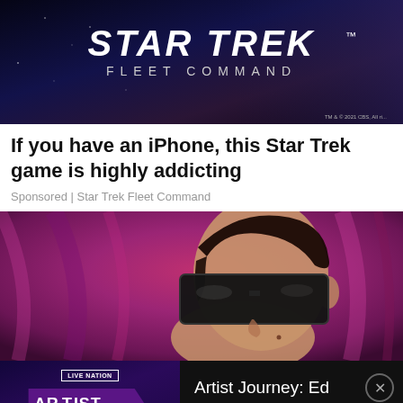[Figure (illustration): Star Trek Fleet Command advertisement banner with dark blue/purple background showing the Star Trek logo in bold italic text and 'FLEET COMMAND' subtitle. Small trademark notice in bottom right.]
If you have an iPhone, this Star Trek game is highly addicting
Sponsored | Star Trek Fleet Command
[Figure (photo): Close-up photo of a person wearing large dark sunglasses against a pink/purple draped fabric background. Only part of the face is visible.]
[Figure (illustration): Artist Journey: Ed Sheeran advertisement. Left side shows Live Nation badge, Artist Journey logo in purple and white on dark purple background, and 'ED SHEERAN' text. Right side shows text 'Artist Journey: Ed Sheeran' with a close button.]